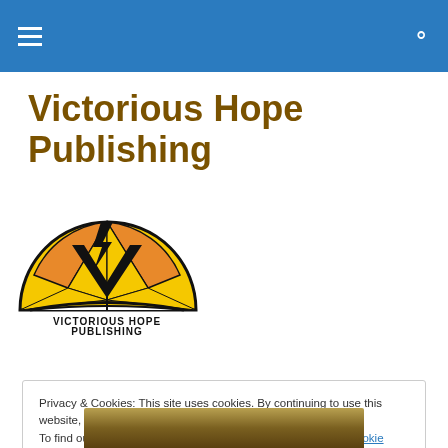Navigation bar with menu and search icons
Victorious Hope Publishing
[Figure (logo): Victorious Hope Publishing logo: a semicircular sunrise with yellow, orange and dark rays, a V shape and open book at center, with text VICTORIOUS HOPE PUBLISHING below]
Privacy & Cookies: This site uses cookies. By continuing to use this website, you agree to their use. To find out more, including how to control cookies, see here: Cookie Policy
Close and accept